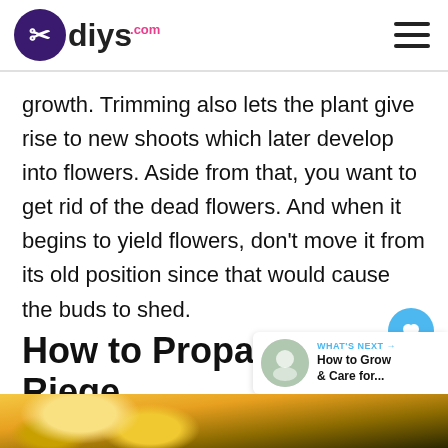diys.com
growth. Trimming also lets the plant give rise to new shoots which later develop into flowers. Aside from that, you want to get rid of the dead flowers. And when it begins to yield flowers, don't move it from its old position since that would cause the buds to shed.
How to Propagate Rieger Begonia Plants
[Figure (photo): Yellow and orange Begonia flowers close-up photo at bottom of page]
WHAT'S NEXT → How to Grow & Care for...